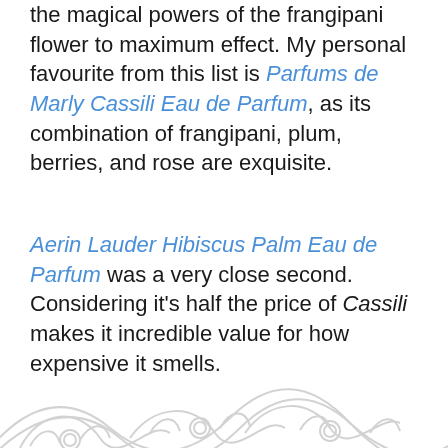the magical powers of the frangipani flower to maximum effect. My personal favourite from this list is Parfums de Marly Cassili Eau de Parfum, as its combination of frangipani, plum, berries, and rose are exquisite.
Aerin Lauder Hibiscus Palm Eau de Parfum was a very close second. Considering it's half the price of Cassili makes it incredible value for how expensive it smells.
[Figure (illustration): Decorative swirling floral/scroll pattern in light grey at the bottom of the page]